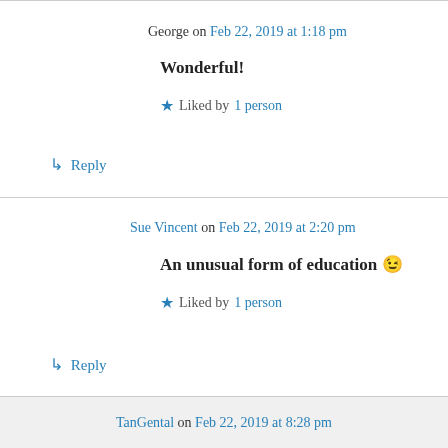George on Feb 22, 2019 at 1:18 pm
Wonderful!
★ Liked by 1 person
↳ Reply
Sue Vincent on Feb 22, 2019 at 2:20 pm
An unusual form of education 😉
★ Liked by 1 person
↳ Reply
TanGental on Feb 22, 2019 at 8:28 pm